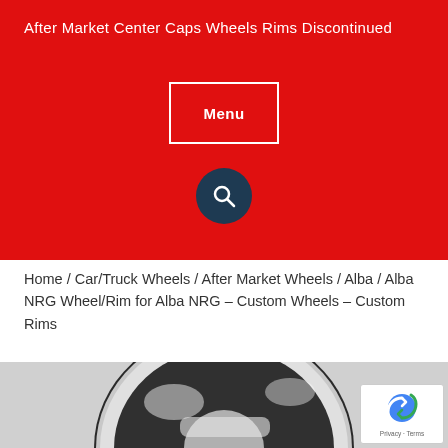After Market Center Caps Wheels Rims Discontinued
Menu
Home / Car/Truck Wheels / After Market Wheels / Alba / Alba NRG Wheel/Rim for Alba NRG – Custom Wheels – Custom Rims
[Figure (photo): Chrome/dark alloy wheel rim photographed close-up from a slight angle, showing spokes and center area]
[Figure (logo): reCAPTCHA badge with Google logo and Privacy - Terms text]